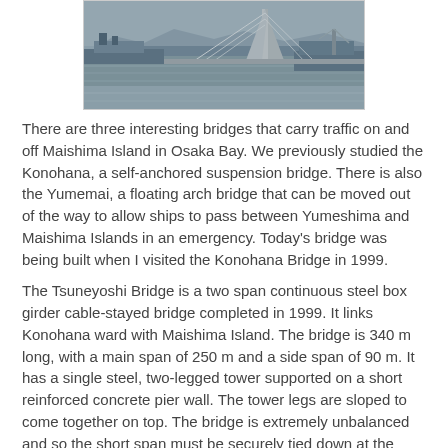[Figure (photo): Aerial or elevated view of the Tsuneyoshi Bridge under construction over Osaka Bay water, showing a cable-stayed bridge tower and surrounding waterfront with docks and industrial structures in the background.]
There are three interesting bridges that carry traffic on and off Maishima Island in Osaka Bay. We previously studied the Konohana, a self-anchored suspension bridge. There is also the Yumemai, a floating arch bridge that can be moved out of the way to allow ships to pass between Yumeshima and Maishima Islands in an emergency. Today's bridge was being built when I visited the Konohana Bridge in 1999.
The Tsuneyoshi Bridge is a two span continuous steel box girder cable-stayed bridge completed in 1999. It links Konohana ward with Maishima Island. The bridge is 340 m long, with a main span of 250 m and a side span of 90 m. It has a single steel, two-legged tower supported on a short reinforced concrete pier wall. The tower legs are sloped to come together on top. The bridge is extremely unbalanced and so the short span must be securely tied down at the